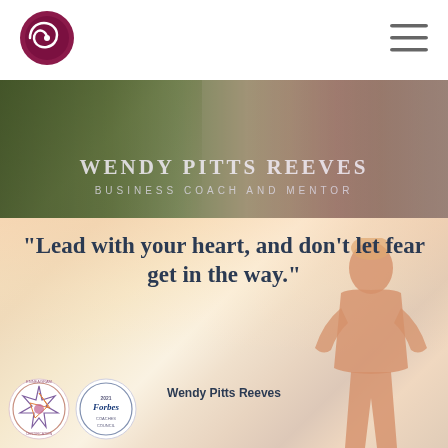[Figure (logo): Wendy Pitts Reeves spiral logo circle in dark magenta/maroon]
[Figure (illustration): Hamburger menu icon (three horizontal lines)]
[Figure (photo): Hero banner showing nature/leaf background on left and woman with short blonde hair smiling on right, with text overlay WENDY PITTS REEVES - BUSINESS COACH AND MENTOR]
WENDY PITTS REEVES
BUSINESS COACH AND MENTOR
[Figure (photo): Quote section with warm sunset background and silhouette of a woman with hands on hips on the right side]
"Lead with your heart, and don't let fear get in the way."
Wendy Pitts Reeves
[Figure (logo): Enneagram certification badge circular logo with colorful geometric design]
[Figure (logo): Forbes Coaches Council circular badge]